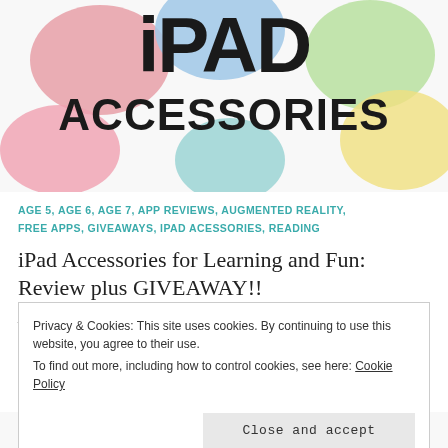[Figure (illustration): iPad Accessories banner image with colorful rounded shapes and bold text reading 'iPAD ACCESSORIES']
AGE 5, AGE 6, AGE 7, APP REVIEWS, AUGMENTED REALITY, FREE APPS, GIVEAWAYS, IPAD ACESSORIES, READING
iPad Accessories for Learning and Fun: Review plus GIVEAWAY!!
jessiebee3
Privacy & Cookies: This site uses cookies. By continuing to use this website, you agree to their use. To find out more, including how to control cookies, see here: Cookie Policy
Close and accept
[Figure (illustration): Bottom portion of iPad Accessories banner image partially visible at the bottom of the page]